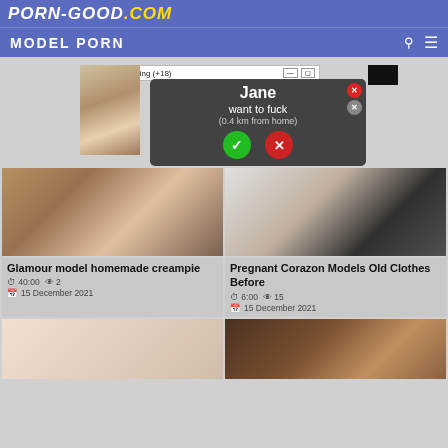PORN-GOOD.COM
MODEL PORN
[Figure (screenshot): Ad popup: Instant Sex Dating (+18) - Jane want to fuck (0.4 km from home) with yes/no buttons]
[Figure (photo): Video thumbnail: Glamour model homemade creampie]
Glamour model homemade creampie
40:00  2  15 December 2021
[Figure (photo): Video thumbnail: Pregnant Corazon Models Old Clothes Before]
Pregnant Corazon Models Old Clothes Before
6:00  15  15 December 2021
[Figure (photo): Video thumbnail bottom left]
[Figure (photo): Video thumbnail bottom right]